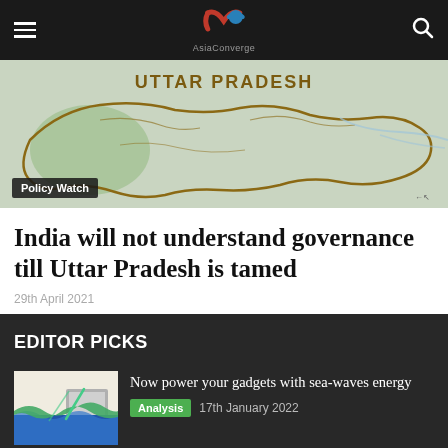AsiaConverge
[Figure (map): Map of Uttar Pradesh state with labeled boundary outline on green/natural background]
Policy Watch
India will not understand governance till Uttar Pradesh is tamed
29th April 2021
EDITOR PICKS
[Figure (illustration): Thumbnail illustration showing sea-waves energy concept with wave and device diagrams in blue and green]
Now power your gadgets with sea-waves energy
Analysis  17th January 2022